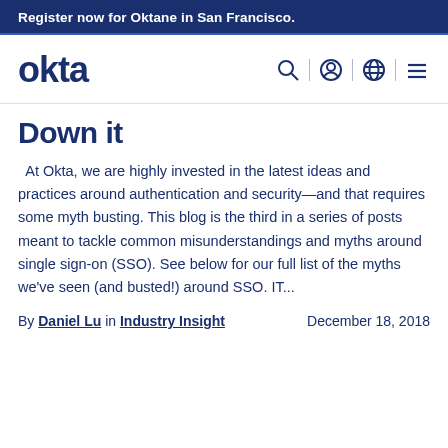Register now for Oktane in San Francisco.
[Figure (logo): Okta logo with navigation icons (search, user, globe, menu)]
Down it
At Okta, we are highly invested in the latest ideas and practices around authentication and security—and that requires some myth busting. This blog is the third in a series of posts meant to tackle common misunderstandings and myths around single sign-on (SSO). See below for our full list of the myths we've seen (and busted!) around SSO. IT...
By Daniel Lu in Industry Insight   December 18, 2018